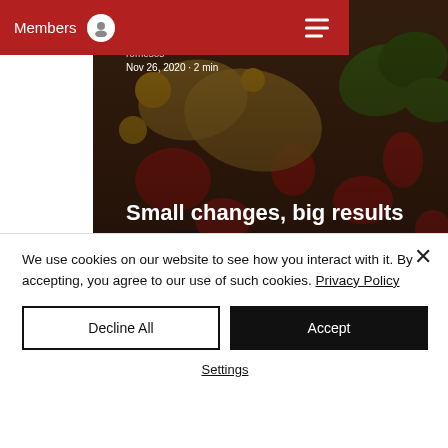Members
[Figure (screenshot): Article thumbnail showing vegetables and tomatoes with overlay text 'Small changes, big results', author 'romesos', date 'Nov 26, 2020 · 2 min', and stats showing 10 views and 0 comments]
We use cookies on our website to see how you interact with it. By accepting, you agree to our use of such cookies. Privacy Policy
Decline All
Accept
Settings